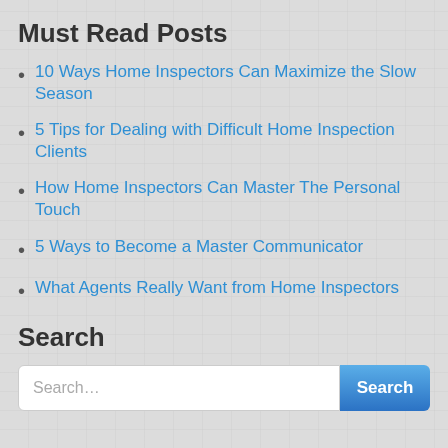Must Read Posts
10 Ways Home Inspectors Can Maximize the Slow Season
5 Tips for Dealing with Difficult Home Inspection Clients
How Home Inspectors Can Master The Personal Touch
5 Ways to Become a Master Communicator
What Agents Really Want from Home Inspectors
Search
Search...